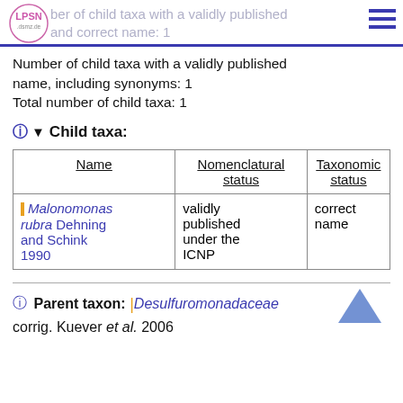Number of child taxa with a validly published and correct name: 1
Number of child taxa with a validly published name, including synonyms: 1
Total number of child taxa: 1
Child taxa:
| Name | Nomenclatural status | Taxonomic status |
| --- | --- | --- |
| Malonomonas rubra Dehning and Schink 1990 | validly published under the ICNP | correct name |
Parent taxon: Desulfuromonadaceae corrig. Kuever et al. 2006